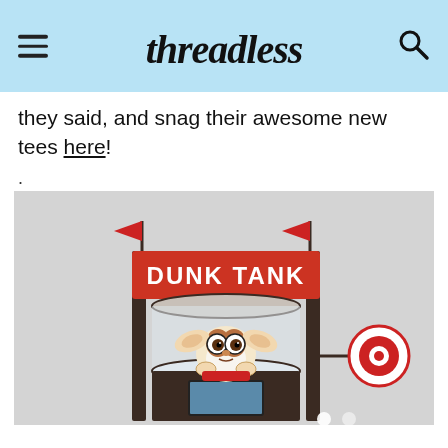threadless (logo with hamburger menu and search icon)
they said, and snag their awesome new tees here!
.
[Figure (illustration): Cartoon illustration of a dunk tank carnival game. A dunk tank structure with red banner reading 'DUNK TANK' with two red flags on top. Inside the tank sits a cute cartoon character (Gizmo from Gremlins) with big ears, white and brown fur, and big eyes. To the right is a red and white circular target on a stick. The tank has a dark brown base with a window/panel. Background is light gray.]